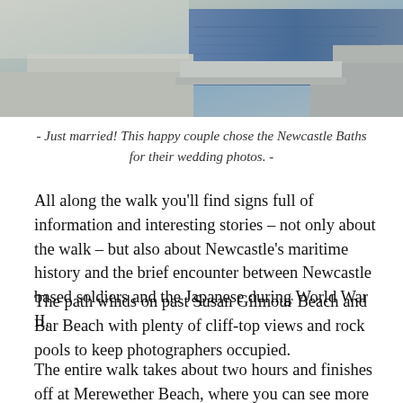[Figure (photo): Cropped photo of Newcastle Baths area showing concrete pier/walkway structure with water and sandy/concrete surfaces, top portion of image]
- Just married! This happy couple chose the Newcastle Baths for their wedding photos. -
All along the walk you’ll find signs full of information and interesting stories – not only about the walk – but also about Newcastle’s maritime history and the brief encounter between Newcastle based soldiers and the Japanese during World War II.
The path winds on past Susan Gilmour Beach and Bar Beach with plenty of cliff-top views and rock pools to keep photographers occupied.
The entire walk takes about two hours and finishes off at Merewether Beach, where you can see more of Newcastle’s famous ocean baths during the famous the Merewether Beach